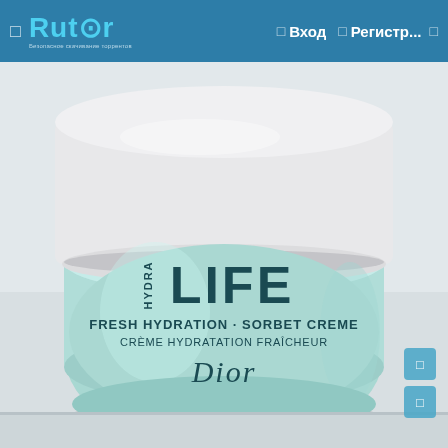Rutor — Вход — Регистр...
[Figure (photo): A glass jar of Dior Hydra Life Fresh Hydration Sorbet Creme face cream. The jar has a white lid and a light mint/turquoise body with dark teal text reading HYDRA LIFE, FRESH HYDRATION · SORBET CREME, CRÈME HYDRATATION FRAÎCHEUR, and Dior. The jar sits on a light gray/white surface.]